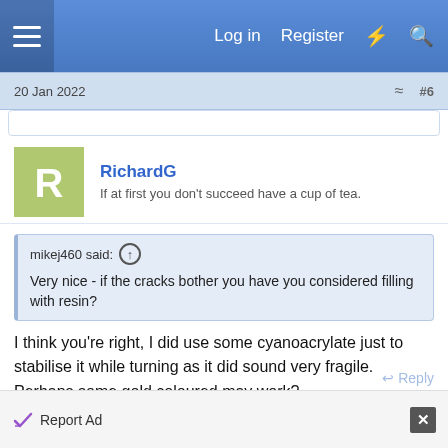Log in  Register
20 Jan 2022  #6
RichardG
If at first you don't succeed have a cup of tea.
mikej460 said:  ↑
Very nice - if the cracks bother you have you considered filling with resin?
I think you're right, I did use some cyanoacrylate just to stabilise it while turning as it did sound very fragile. Perhaps some gold coloured may work?
Report Ad